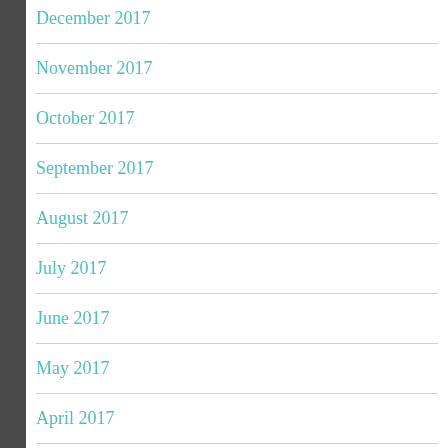December 2017
November 2017
October 2017
September 2017
August 2017
July 2017
June 2017
May 2017
April 2017